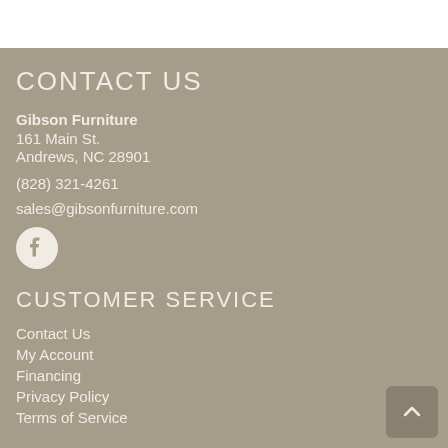CONTACT US
Gibson Furniture
161 Main St.
Andrews, NC 28901
(828) 321-4261
sales@gibsonfurniture.com
[Figure (logo): Facebook logo icon - white circle with F symbol on tan background]
CUSTOMER SERVICE
Contact Us
My Account
Financing
Privacy Policy
Terms of Service